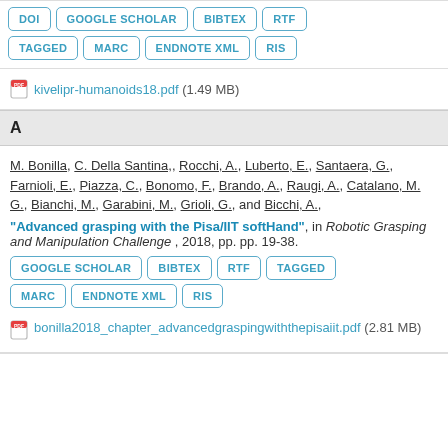DOI  GOOGLE SCHOLAR  BIBTEX  RTF
TAGGED  MARC  ENDNOTE XML  RIS
kivelipr-humanoids18.pdf (1.49 MB)
A
M. Bonilla, C. Della Santina,, Rocchi, A., Luberto, E., Santaera, G., Farnioli, E., Piazza, C., Bonomo, F., Brando, A., Raugi, A., Catalano, M. G., Bianchi, M., Garabini, M., Grioli, G., and Bicchi, A., "Advanced grasping with the Pisa/IIT softHand", in Robotic Grasping and Manipulation Challenge , 2018, pp. pp. 19-38.
GOOGLE SCHOLAR  BIBTEX  RTF  TAGGED
MARC  ENDNOTE XML  RIS
bonilla2018_chapter_advancedgraspingwiththepisaiit.pdf (2.81 MB)